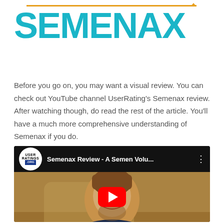[Figure (logo): Semenax brand logo with teal/cyan bold text and orange accent line above]
Before you go on, you may want a visual review. You can check out YouTube channel UserRating's Semenax review. After watching though, do read the rest of the article. You'll have a much more comprehensive understanding of Semenax if you do.
[Figure (screenshot): YouTube video embed showing a man holding a supplement bottle, with UserRatings.org channel logo and title 'Semenax Review - A Semen Volu...' and a red play button in the center]